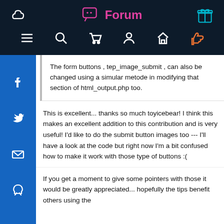Forum
The form buttons , tep_image_submit , can also be changed using a simular metode in modifying that section of html_output.php too.
This is excellent... thanks so much toyicebear! I think this makes an excellent addition to this contribution and is very useful! I'd like to do the submit button images too --- I'll have a look at the code but right now I'm a bit confused how to make it work with those type of buttons :(
If you get a moment to give some pointers with those it would be greatly appreciated... hopefully the tips benefit others using the